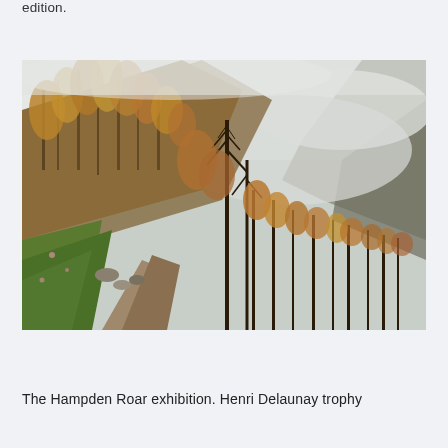edition.
[Figure (photo): A mountain trail path in autumn/winter with bare larch trees in golden-brown color on a hillside, green grass on the left side of the path, rocks along the trail, and misty fog covering the mountain peaks in the background.]
The Hampden Roar exhibition. Henri Delaunay trophy